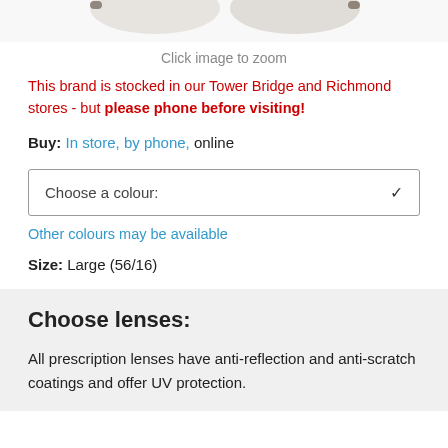[Figure (photo): Partial product image of glasses/sunglasses visible at top of page]
Click image to zoom
This brand is stocked in our Tower Bridge and Richmond stores - but please phone before visiting!
Buy: In store, by phone, online
Choose a colour:
Other colours may be available
Size: Large (56/16)
Choose lenses:
All prescription lenses have anti-reflection and anti-scratch coatings and offer UV protection.